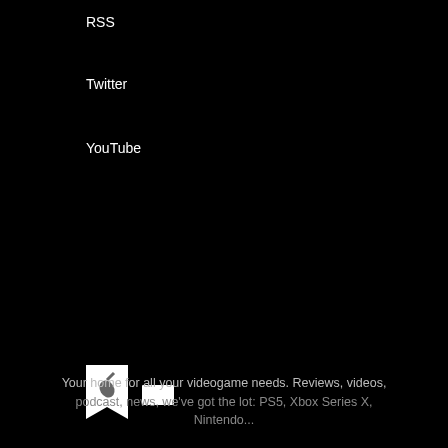RSS
Twitter
YouTube
[Figure (illustration): Bookmark icon with pen/tag symbol and folder icon]
3ds Activision Bandai Namco bethesda Capcom DLC EA iOS Konami Microsoft nintendo switch PC playstation PS4 Sega Sony square enix Ubisoft Xbox 360
[Figure (screenshot): Video ad overlay: MW logo, game art with dragon, play button, text 'THE BEST CARD-BASED GAMES' with close button]
Your home for all your videogame needs. Reviews, videos, podcast, news, we've got the lot: PS5, Xbox Series X, Nintendo...